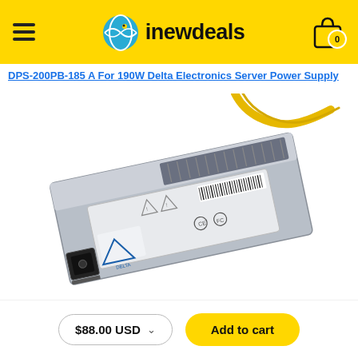inewdeals
DPS-200PB-185 A For 190W Delta Electronics Server Power Supply
[Figure (photo): Photo of a DPS-200PB-185 A 190W Delta Electronics Server Power Supply unit, silver/grey metal chassis with yellow cables, compliance labels, IEC power inlet, ventilation slots]
$88.00 USD
Add to cart